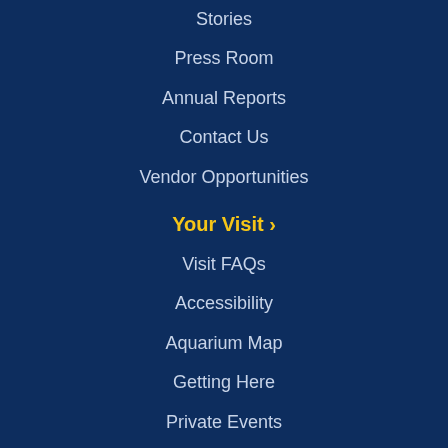Stories
Press Room
Annual Reports
Contact Us
Vendor Opportunities
Your Visit ›
Visit FAQs
Accessibility
Aquarium Map
Getting Here
Private Events
Visitor Policies
Refund, Cancellation and Rescheduling Policies